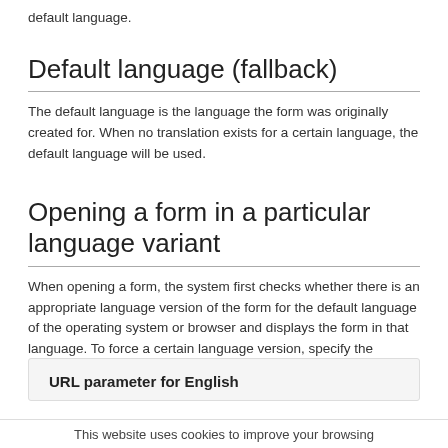default language.
Default language (fallback)
The default language is the language the form was originally created for. When no translation exists for a certain language, the default language will be used.
Opening a form in a particular language variant
When opening a form, the system first checks whether there is an appropriate language version of the form for the default language of the operating system or browser and displays the form in that language. To force a certain language version, specify the desired language as the URL parameter lang.
URL parameter for English
This website uses cookies to improve your browsing